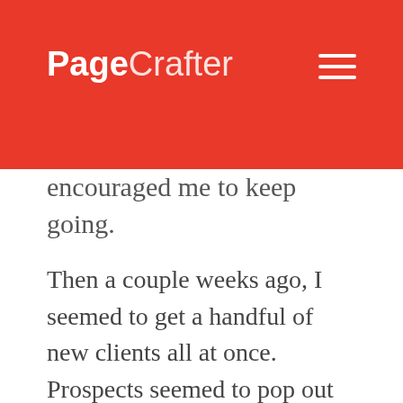PageCrafter
encouraged me to keep going.
Then a couple weeks ago, I seemed to get a handful of new clients all at once. Prospects seemed to pop out of nowhere, and what's more, they all wanted to work with me! Obviously I was doing something right, but now those events have brought me to where I am now. I wouldn't say I am